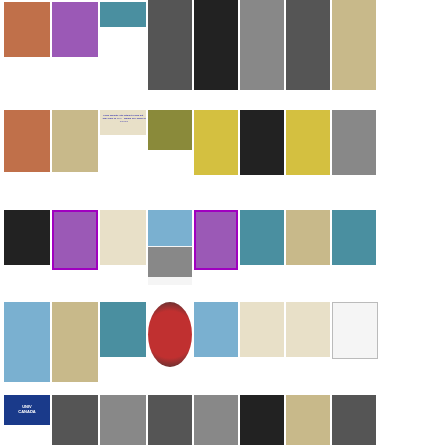[Figure (photo): Grid of artwork and exhibition photographs arranged in 5 rows. Row 1: colorful figurative paintings and portrait photographs of African subjects. Row 2: mixed media artworks including figurative paintings and photographs of gloves/hands. Row 3: artworks including purple electronic device, landscape sketches, and coastal scenes. Row 4: abstract and figurative artworks including earth/globe imagery and minimal compositions. Row 5: exhibition documentation photos showing gallery crowds and artwork installations, with a university logo.]